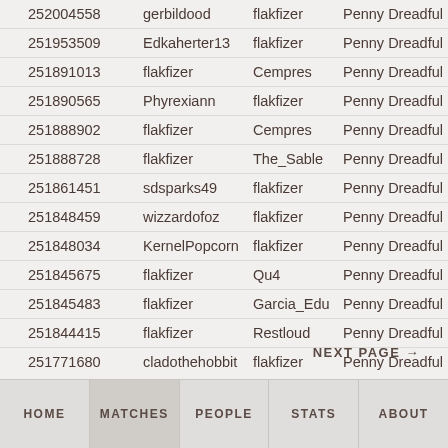| ID | User1 | User2 | League | Tag |
| --- | --- | --- | --- | --- |
| 252004558 | gerbildood | flakfizer | Penny Dreadful | PD Leag |
| 251953509 | Edkaherter13 | flakfizer | Penny Dreadful | Penny D |
| 251891013 | flakfizer | Cempres | Penny Dreadful | pd leagu |
| 251890565 | Phyrexiann | flakfizer | Penny Dreadful | pd leagu |
| 251888902 | flakfizer | Cempres | Penny Dreadful | PD LEAC |
| 251888728 | flakfizer | The_Sable | Penny Dreadful | pd leagu |
| 251861451 | sdsparks49 | flakfizer | Penny Dreadful | Penny D |
| 251848459 | wizzardofoz | flakfizer | Penny Dreadful | pd leagu |
| 251848034 | KernelPopcorn | flakfizer | Penny Dreadful | pd leagu |
| 251845675 | flakfizer | Qu4 | Penny Dreadful | pd leagu |
| 251845483 | flakfizer | Garcia_Edu | Penny Dreadful | pd leagu |
| 251844415 | flakfizer | Restloud | Penny Dreadful | pd leagu |
| 251771680 | cladothehobbit | flakfizer | Penny Dreadful | PD Leag |
NEXT PAGE →
HOME  MATCHES  PEOPLE  STATS  ABOUT